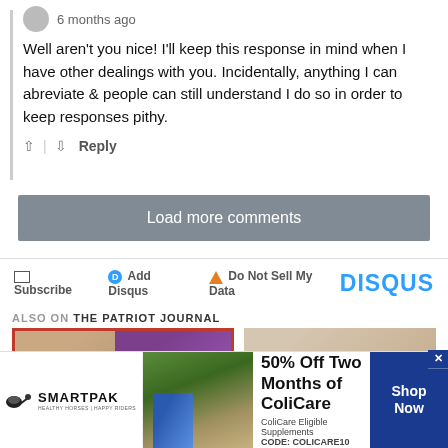6 months ago
Well aren't you nice! I'll keep this response in mind when I have other dealings with you. Incidentally, anything I can abreviate & people can still understand I do so in order to keep responses pithy.
↑ | ↓  Reply
Load more comments
Subscribe  Add Disqus  Do Not Sell My Data  DISQUS
ALSO ON THE PATRIOT JOURNAL
[Figure (screenshot): Two thumbnail images from The Patriot Journal. Left thumbnail shows two faces with a red border. Right thumbnail shows a bald man.]
[Figure (photo): SmartPak advertisement banner showing a horse and rider with text '50% Off Two Months of ColiCare' and 'CODE: COLICARE10', with Shop Now button.]